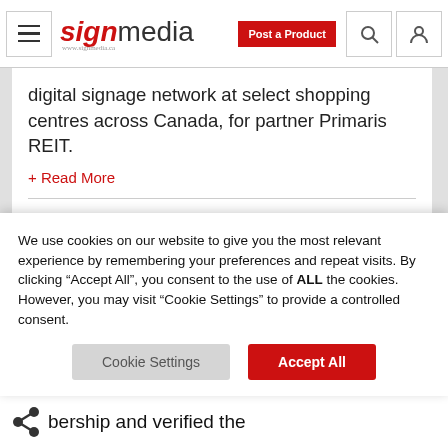signmedia — Post a Product
digital signage network at select shopping centres across Canada, for partner Primaris REIT.
+ Read More
COMMB welcomes new place-based member
2 February 2022
The Canadian Out-of-Home Marketing
We use cookies on our website to give you the most relevant experience by remembering your preferences and repeat visits. By clicking "Accept All", you consent to the use of ALL the cookies. However, you may visit "Cookie Settings" to provide a controlled consent.
Cookie Settings   Accept All
bership and verified the